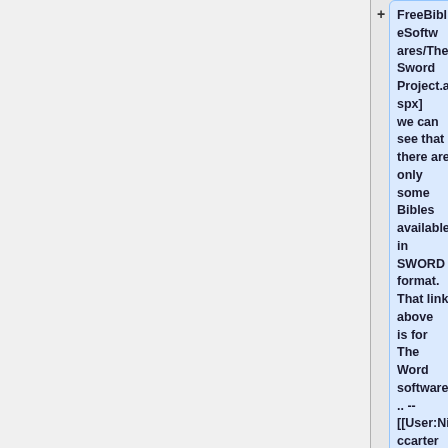FreeBibleSoftwares/TheSword Project.aspx] we can see that there are only some Bibles available in SWORD format. That link above is for The Word software... -- [[User:Niccarter|Nic Carter]] 23:10, 11 March 2013 (MDT)
== Kazakh Bible ==
Explanation of